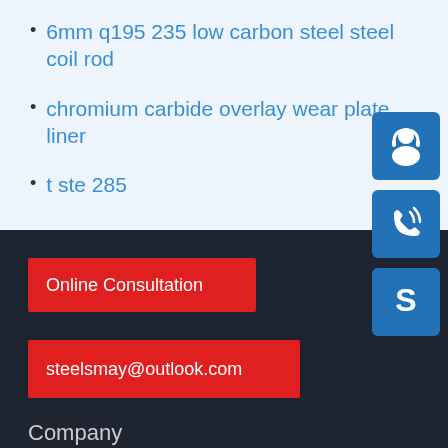6mm q195 235 low carbon steel steel coil rod
chromium carbide overlay wear plate liner
t ste 285
[Figure (illustration): Blue square button with white customer service headset/person icon]
[Figure (illustration): Blue square button with white phone/call icon with signal waves]
[Figure (illustration): Blue square button with white Skype 'S' logo icon]
Online Consultation
steelsmay@outlook.com
Company